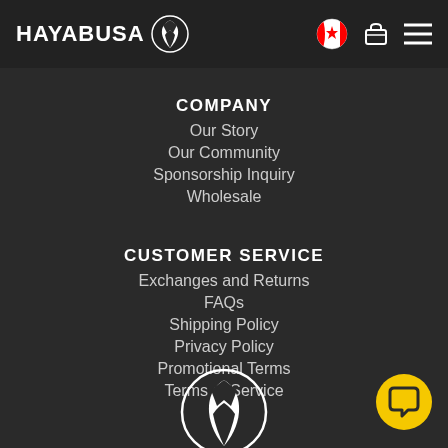HAYABUSA [logo] [Canada flag] [cart] [menu]
COMPANY
Our Story
Our Community
Sponsorship Inquiry
Wholesale
CUSTOMER SERVICE
Exchanges and Returns
FAQs
Shipping Policy
Privacy Policy
Promotional Terms
Terms of Service
[Figure (logo): Hayabusa circular logo mark (white shell/wing icon on dark circle)]
[Figure (other): Yellow circular chat button with speech bubble icon]